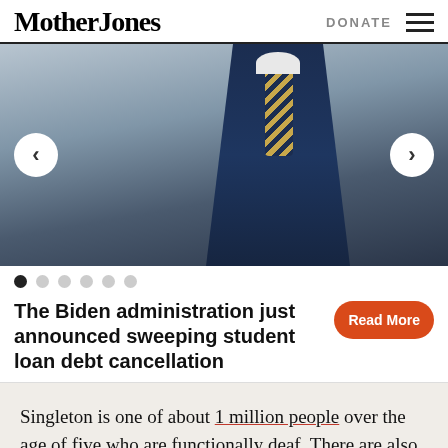Mother Jones | DONATE
[Figure (photo): Carousel image showing a man in a navy blue suit with a striped tie, with left and right navigation arrows and 6 indicator dots below]
The Biden administration just announced sweeping student loan debt cancellation
Read More
Singleton is one of about 1 million people over the age of five who are functionally deaf. There are also